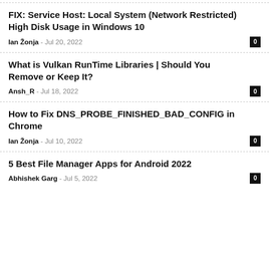FIX: Service Host: Local System (Network Restricted) High Disk Usage in Windows 10
Ian Žonja – Jul 20, 2022
What is Vulkan RunTime Libraries | Should You Remove or Keep It?
Ansh_R – Jul 18, 2022
How to Fix DNS_PROBE_FINISHED_BAD_CONFIG in Chrome
Ian Žonja – Jul 10, 2022
5 Best File Manager Apps for Android 2022
Abhishek Garg – Jul 5, 2022